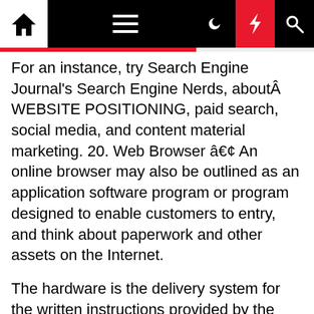Navigation bar with home, menu, moon, bolt, and search icons
For an instance, try Search Engine Journal's Search Engine Nerds, aboutÂ WEBSITE POSITIONING, paid search, social media, and content material marketing. 20. Web Browser â€¢ An online browser may also be outlined as an application software program or program designed to enable customers to entry, and think about paperwork and other assets on the Internet.
The hardware is the delivery system for the written instructions provided by the software. Quite a lot of gadgets can now entry information saved in cloud-based mostly methods. With the appropriate web design agency, you can turn your website into an invaluable asset for your business and an efficient means for speaking the essence and imaginative and prescient of your brand.